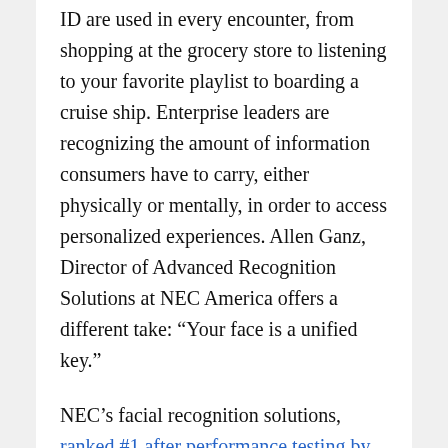ID are used in every encounter, from shopping at the grocery store to listening to your favorite playlist to boarding a cruise ship. Enterprise leaders are recognizing the amount of information consumers have to carry, either physically or mentally, in order to access personalized experiences. Allen Ganz, Director of Advanced Recognition Solutions at NEC America offers a different take: “Your face is a unified key.”
NEC’s facial recognition solutions, ranked #1 after performance testing by the U.S. National Institute of Standards and Technology (NIST), identify individual faces of people as they move in real time, without